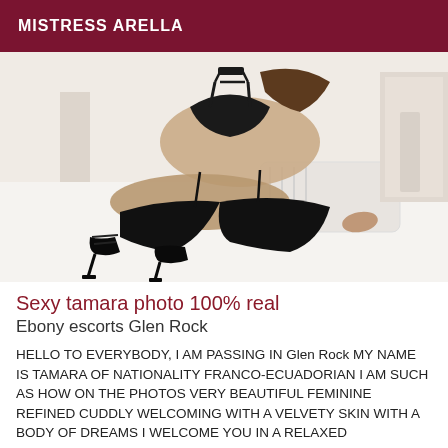MISTRESS ARELLA
[Figure (photo): A woman in black lingerie and high heels posing on a white bed]
Sexy tamara photo 100% real
Ebony escorts Glen Rock
HELLO TO EVERYBODY, I AM PASSING IN Glen Rock MY NAME IS TAMARA OF NATIONALITY FRANCO-ECUADORIAN I AM SUCH AS HOW ON THE PHOTOS VERY BEAUTIFUL FEMININE REFINED CUDDLY WELCOMING WITH A VELVETY SKIN WITH A BODY OF DREAMS I WELCOME YOU IN A RELAXED ATMOSPHERE IN A COMFORTABLE AND CLEAN PRIVATE APARTMENT. I APPRECIATE ELEGANT, COURTEOUS AND RESPECTFUL MEN WHO KNOW...